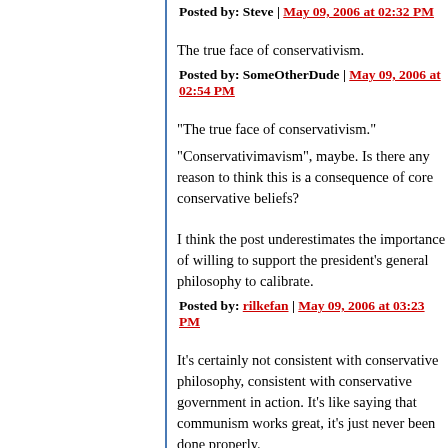Posted by: Steve | May 09, 2006 at 02:32 PM
The true face of conservativism.
Posted by: SomeOtherDude | May 09, 2006 at 02:54 PM
"The true face of conservativism."
"Conservativimavism", maybe. Is there any reason to think this is a consequence of core conservative beliefs?
I think the post underestimates the importance of willing to support the president's general philosophy to calibrate.
Posted by: rilkefan | May 09, 2006 at 03:23 PM
It's certainly not consistent with conservative philosophy, consistent with conservative government in action. It's like saying that communism works great, it's just never been done properly.